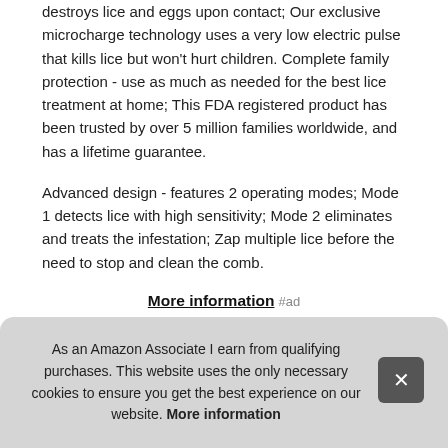destroys lice and eggs upon contact; Our exclusive microcharge technology uses a very low electric pulse that kills lice but won't hurt children. Complete family protection - use as much as needed for the best lice treatment at home; This FDA registered product has been trusted by over 5 million families worldwide, and has a lifetime guarantee.
Advanced design - features 2 operating modes; Mode 1 detects lice with high sensitivity; Mode 2 eliminates and treats the infestation; Zap multiple lice before the need to stop and clean the comb.
More information #ad
Eas... any... prot... 1 m...
As an Amazon Associate I earn from qualifying purchases. This website uses the only necessary cookies to ensure you get the best experience on our website. More information